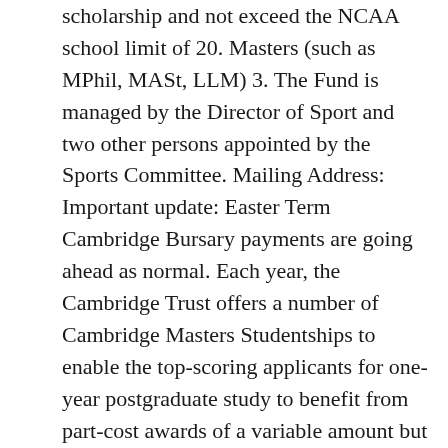scholarship and not exceed the NCAA school limit of 20. Masters (such as MPhil, MASt, LLM) 3. The Fund is managed by the Director of Sport and two other persons appointed by the Sports Committee. Mailing Address: Important update: Easter Term Cambridge Bursary payments are going ahead as normal. Each year, the Cambridge Trust offers a number of Cambridge Masters Studentships to enable the top-scoring applicants for one-year postgraduate study to benefit from part-cost awards of a variable amount but typically of £12,000 each towards their studies. Check out Harvard University (Harvard) Rowing Scholarships in Cambridge, MA to find Rowing Scholarships The Merrimac River Rowing Association, for example, in Lowell, Mass., offers scholarships to high school seniors who have supported or participated in rowing programs at the Bellegarde Boathouse. We welcome athletes of all abilities from a range of backgrounds in the trialling process, starting